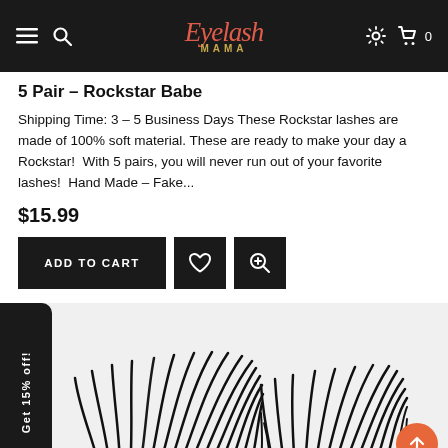EyeLash MAMA navigation header with menu, search, settings, and cart icons
5 Pair – Rockstar Babe
Shipping Time: 3 – 5 Business Days These Rockstar lashes are made of 100% soft material. These are ready to make your day a Rockstar!  With 5 pairs, you will never run out of your favorite lashes!  Hand Made – Fake...
$15.99
[Figure (screenshot): E-commerce product page buttons: ADD TO CART (black button), heart/wishlist icon button (black), zoom icon button (black)]
[Figure (photo): False eyelashes product photo showing two pairs of voluminous black false lashes on white/light background. Side tab shows 'Get 15% off!' label in black rounded rectangle on left edge.]